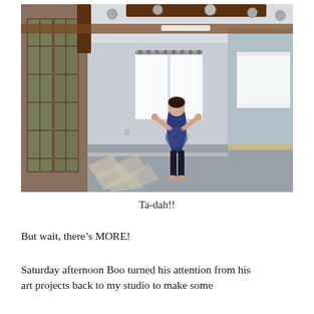[Figure (photo): Interior photo of an empty dance/exercise studio with gray walls, wooden ceiling beams, track lighting, French doors on the left, white curtains on the windows, large mirror on the right wall, and a woman in a navy tank top and black capri pants standing in the center with arms raised in a 'ta-dah' pose.]
Ta-dah!!
But wait, there’s MORE!
Saturday afternoon Boo turned his attention from his art projects back to my studio to make some